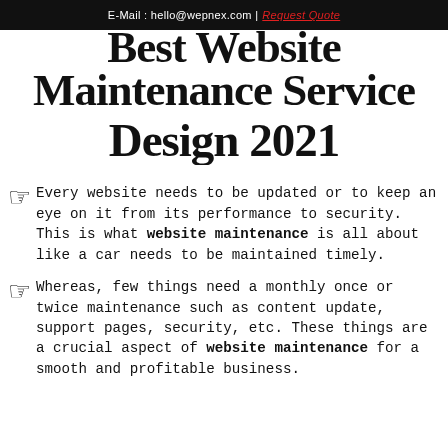E-Mail : hello@wepnex.com | Request Quote
Best Website Maintenance Service Design 2021
Every website needs to be updated or to keep an eye on it from its performance to security. This is what website maintenance is all about like a car needs to be maintained timely.
Whereas, few things need a monthly once or twice maintenance such as content update, support pages, security, etc. These things are a crucial aspect of website maintenance for a smooth and profitable business.